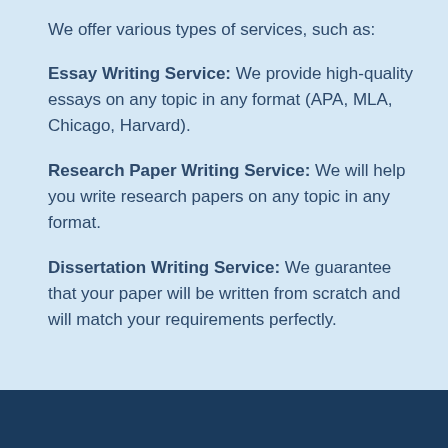We offer various types of services, such as:
Essay Writing Service: We provide high-quality essays on any topic in any format (APA, MLA, Chicago, Harvard).
Research Paper Writing Service: We will help you write research papers on any topic in any format.
Dissertation Writing Service: We guarantee that your paper will be written from scratch and will match your requirements perfectly.